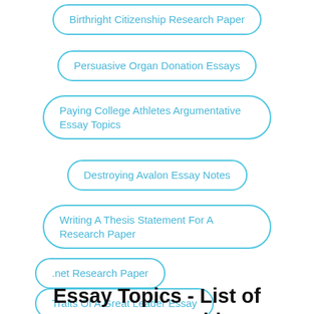Birthright Citizenship Research Paper
Persuasive Organ Donation Essays
Paying College Athletes Argumentative Essay Topics
Destroying Avalon Essay Notes
Writing A Thesis Statement For A Research Paper
.net Research Paper
Traits Of A Great Leader Essay
Essay Topics - List of 500 Essay Writi…